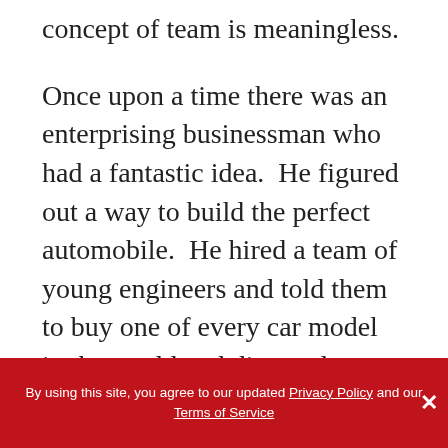concept of team is meaningless.
Once upon a time there was an enterprising businessman who had a fantastic idea.  He figured out a way to build the perfect automobile.  He hired a team of young engineers and told them to buy one of every car model in the world and dismantle them.
He instructed them to pick out the best part from every car and to place it in a special room.  Soon the room was filled with parts judged by
By using this site, you agree to our updated Privacy Policy and our Terms of Service